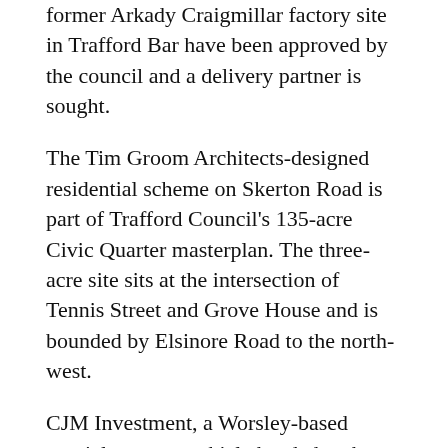former Arkady Craigmillar factory site in Trafford Bar have been approved by the council and a delivery partner is sought.
The Tim Groom Architects-designed residential scheme on Skerton Road is part of Trafford Council's 135-acre Civic Quarter masterplan. The three-acre site sits at the intersection of Tennis Street and Grove House and is bounded by Elsinore Road to the north-west.
CJM Investment, a Worsley-based special purpose vehicle headed up by director John Main, according to Companies House, first lodged an application to build 400 homes on the site in March and has since scaled back the scheme.
The latest proposal comprises five apartment blocks ranging in height between five and 10 storeys. The residential offer includes 166 one-bedroom